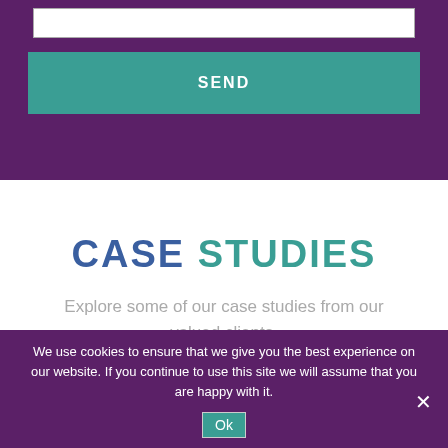[Figure (screenshot): Input text box with border on purple background]
SEND
CASE STUDIES
Explore some of our case studies from our valued clients.
We use cookies to ensure that we give you the best experience on our website. If you continue to use this site we will assume that you are happy with it.
Ok